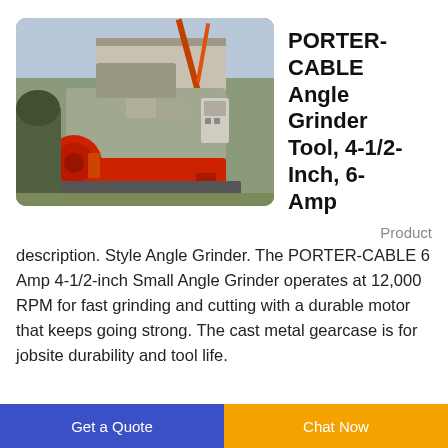[Figure (photo): Industrial heavy-duty machine (shredder/grinder) in an outdoor yard setting, painted gray with red base, with electrical panels and crane visible in background.]
PORTER-CABLE Angle Grinder Tool, 4-1/2-Inch, 6-Amp
Product description. Style Angle Grinder. The PORTER-CABLE 6 Amp 4-1/2-inch Small Angle Grinder operates at 12,000 RPM for fast grinding and cutting with a durable motor that keeps going strong. The cast metal gearcase is for jobsite durability and tool life.
Get a Quote | Chat Now